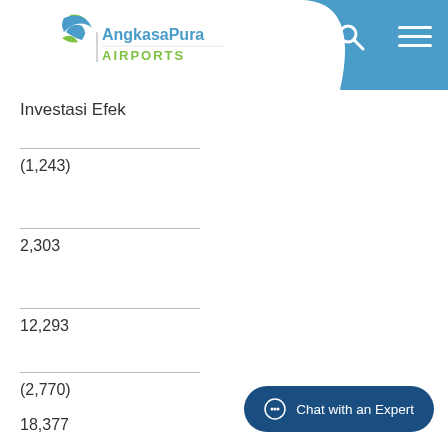AngkasaPura | AIRPORTS
Investasi Efek
(1,243)
2,303
12,293
(2,770)
18,377